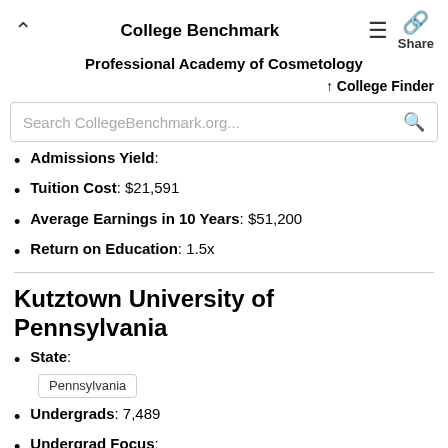College Benchmark
Professional Academy of Cosmetology
College Finder
Search CollegeBenchmark.org...
Admissions Yield:
Tuition Cost: $21,591
Average Earnings in 10 Years: $51,200
Return on Education: 1.5x
Kutztown University of Pennsylvania
State: Pennsylvania
Undergrads: 7,489
Undergrad Focus:
SAT Score Range: 880 - 1080
ACT Score Range: 18 - 22